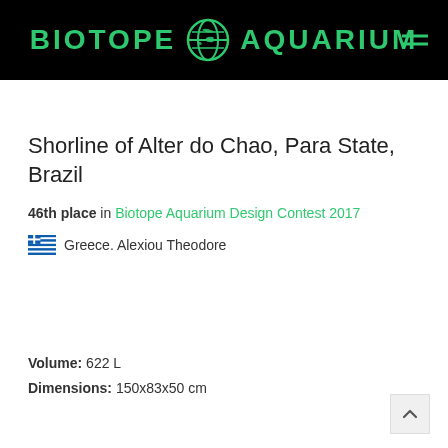BIOTOPE AQUARIUM
Shorline of Alter do Chao, Para State, Brazil
46th place in Biotope Aquarium Design Contest 2017
Greece. Alexiou Theodore
Volume: 622 L
Dimensions: 150x83x50 cm